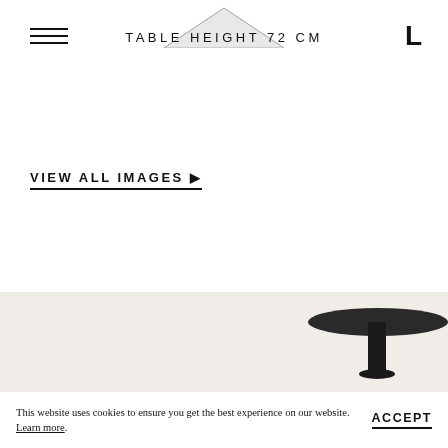[Figure (photo): Partial view of a white table or surface seen from above, cropped at top of page]
TABLE HEIGHT 72 CM
VIEW ALL IMAGES ▶
[Figure (photo): Dark round table with a cylindrical pedestal leg on a light beige background, partially cropped]
This website uses cookies to ensure you get the best experience on our website. Learn more.
ACCEPT